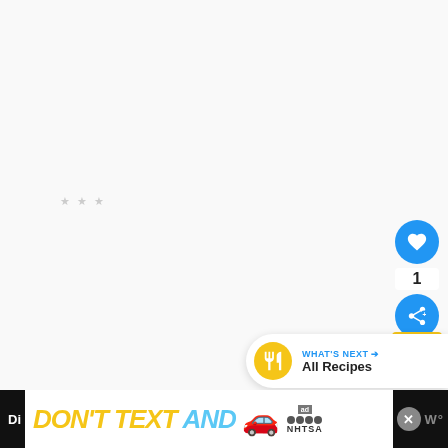[Figure (screenshot): Light gray/white background area representing a webpage content area with faded placeholder text]
[Figure (screenshot): UI overlay showing a blue heart/favorite button, count of 1, blue share button, and yellow bookmark element on the right side]
[Figure (screenshot): What's Next navigation bar showing a yellow icon with fork/knife, WHAT'S NEXT arrow label in blue, and All Recipes text]
[Figure (screenshot): Black ad banner at the bottom showing DON'T TEXT AND with a red car emoji, NHTSA logo, close button, and W logo. Partial Di text on left.]